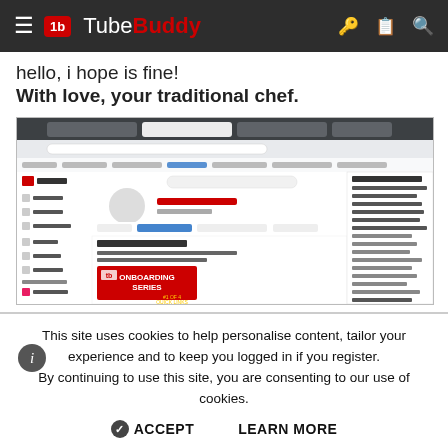tb TubeBuddy
hello, i hope is fine!
With love, your traditional chef.
[Figure (screenshot): Screenshot of TubeBuddy browser extension open on YouTube, showing the Tasty Traditional channel page with TubeBuddy Updates panel and an Onboarding Series video thumbnail. A dropdown menu on the right shows TubeBuddy tools like Dashboard, Videos, Playlists, etc.]
This site uses cookies to help personalise content, tailor your experience and to keep you logged in if you register. By continuing to use this site, you are consenting to our use of cookies.
✔ ACCEPT    LEARN MORE